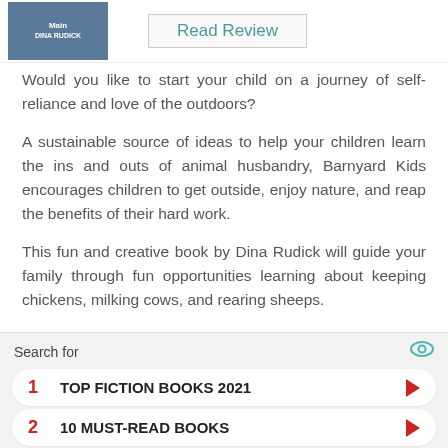[Figure (photo): Book cover thumbnail for Barnyard Kids by Dina Rudick]
Read Review
Would you like to start your child on a journey of self-reliance and love of the outdoors?
A sustainable source of ideas to help your children learn the ins and outs of animal husbandry, Barnyard Kids encourages children to get outside, enjoy nature, and reap the benefits of their hard work.
This fun and creative book by Dina Rudick will guide your family through fun opportunities learning about keeping chickens, milking cows, and rearing sheeps.
It's time to get your little farmhands dirty. Help them
Search for
1  TOP FICTION BOOKS 2021
2  10 MUST-READ BOOKS
Ad | Business Focus